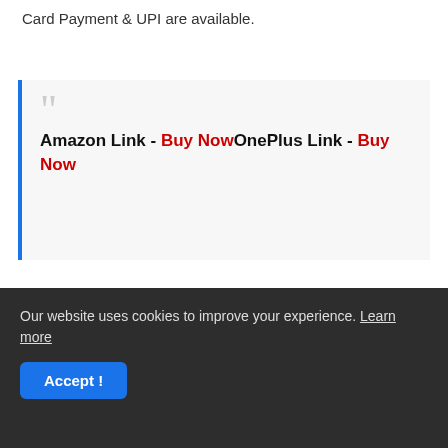Card Payment & UPI are available.
Amazon Link - Buy Now OnePlus Link - Buy Now
[Figure (screenshot): Dark video thumbnail with partial text and CLICK 2 PLAY NOW red banner at bottom]
Our website uses cookies to improve your experience. Learn more
Accept!